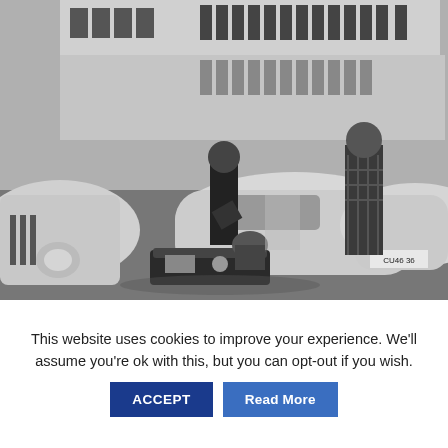[Figure (photo): Black and white photograph of people standing between parked cars in a parking lot outside a building. One person is bent over an open suitcase/case on the ground. The car on the right has a license plate reading 'CU46 36'.]
This website uses cookies to improve your experience. We'll assume you're ok with this, but you can opt-out if you wish.